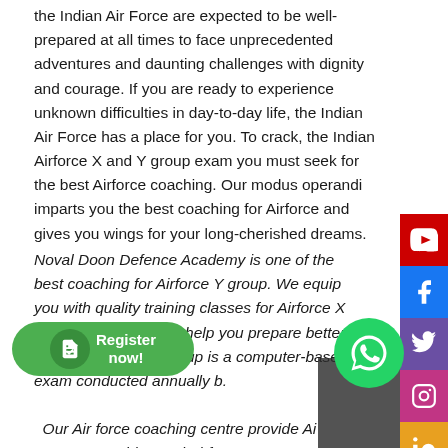the Indian Air Force are expected to be well-prepared at all times to face unprecedented adventures and daunting challenges with dignity and courage. If you are ready to experience unknown difficulties in day-to-day life, the Indian Air Force has a place for you. To crack, the Indian Airforce X and Y group exam you must seek for the best Airforce coaching. Our modus operandi imparts you the best coaching for Airforce and gives you wings for your long-cherished dreams.
Noval Doon Defence Academy is one of the best coaching for Airforce Y group. We equip you with quality training classes for Airforce X and Y Group exam to help you prepare better. Air Force X and Y Group is a computer-based exam conducted annually b... Our Air force coaching centre provide Ai... group X coaching and Airforce Y Group coaching to help stu... realize their dream of being a part of the IAF. We are situated in Dehradun. By enrolling in our Air force classes, candidates get ... best faculty support, study material, doubt removal sessions, preparation books, and almost everything they need for...